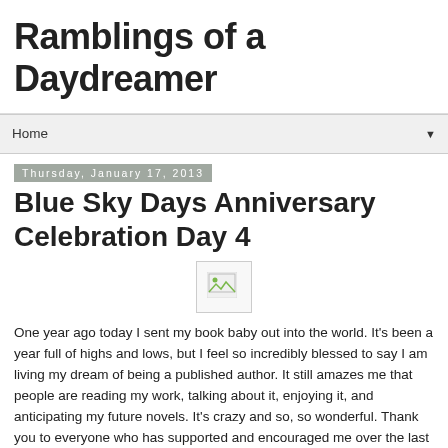Ramblings of a Daydreamer
Home
Thursday, January 17, 2013
Blue Sky Days Anniversary Celebration Day 4
[Figure (other): Broken/missing image placeholder icon]
One year ago today I sent my book baby out into the world. It's been a year full of highs and lows, but I feel so incredibly blessed to say I am living my dream of being a published author. It still amazes me that people are reading my work, talking about it, enjoying it, and anticipating my future novels. It's crazy and so, so wonderful. Thank you to everyone who has supported and encouraged me over the last year and been part of